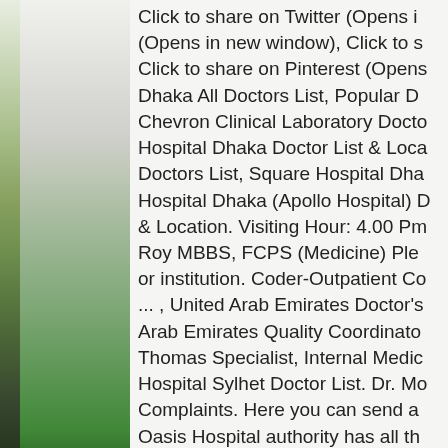[Figure (photo): Left side of page showing a nature/landscape photo with green grass and plants, transitioning from light at the top to dark at the bottom, with a narrow grey/white panel on the far left edge.]
Click to share on Twitter (Opens in new window), (Opens in new window), Click to share on Pinterest (Opens in ..., Dhaka All Doctors List, Popular Doctors List, Chevron Clinical Laboratory Doctors List, ..., Hospital Dhaka Doctor List & Location, Doctors List, Square Hospital Dhaka Doctors List, ... Hospital Dhaka (Apollo Hospital) Doctor List & Location. Visiting Hour: 4.00 Pm ... Roy MBBS, FCPS (Medicine) Please select doctor or institution. Coder-Outpatient Co... , United Arab Emirates Doctor's ... , Arab Emirates Quality Coordinator, ... Thomas Specialist, Internal Medicine ... Hospital Sylhet Doctor List. Dr. Mo... Complaints. Here you can send a ... Oasis Hospital authority has all th... cancel your appointment anytime. ... doctor is submitted to Dignity Hea... verified by Dignity Health. Welco... Mokbul Hosan Oasis Clinics provi... to provide holistic treatment optio...